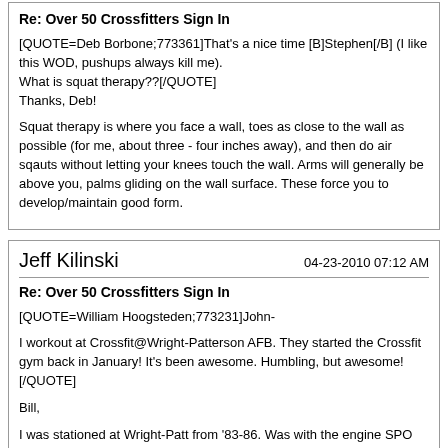Re: Over 50 Crossfitters Sign In
[QUOTE=Deb Borbone;773361]That's a nice time [B]Stephen[/B] (I like this WOD, pushups always kill me).
What is squat therapy??[/QUOTE]
Thanks, Deb!

Squat therapy is where you face a wall, toes as close to the wall as possible (for me, about three - four inches away), and then do air sqauts without letting your knees touch the wall. Arms will generally be above you, palms gliding on the wall surface. These force you to develop/maintain good form.
Jeff Kilinski
04-23-2010 07:12 AM
Re: Over 50 Crossfitters Sign In
[QUOTE=William Hoogsteden;773231]John-

I workout at Crossfit@Wright-Patterson AFB. They started the Crossfit gym back in January! It's been awesome. Humbling, but awesome!
[/QUOTE]

Bill,

I was stationed at Wright-Patt from '83-86. Was with the engine SPO working on the KC-135 re-engining and the Advanced Cruise Missile Engine. You AF?